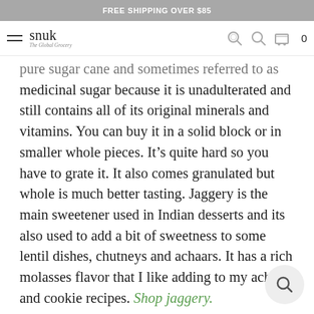FREE SHIPPING OVER $85
[Figure (logo): Snuk - The Global Grocery logo with hamburger menu and navigation icons]
pure sugar cane and sometimes referred to as medicinal sugar because it is unadulterated and still contains all of its original minerals and vitamins. You can buy it in a solid block or in smaller whole pieces. It's quite hard so you have to grate it. It also comes granulated but whole is much better tasting. Jaggery is the main sweetener used in Indian desserts and its also used to add a bit of sweetness to some lentil dishes, chutneys and achaars. It has a rich molasses flavor that I like adding to my achaar and cookie recipes. Shop jaggery.